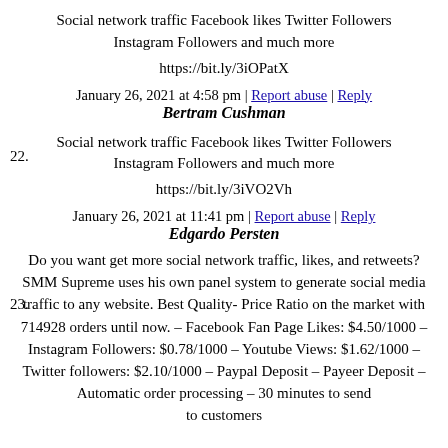Social network traffic Facebook likes Twitter Followers Instagram Followers and much more
https://bit.ly/3iOPatX
January 26, 2021 at 4:58 pm | Report abuse | Reply
Bertram Cushman
Social network traffic Facebook likes Twitter Followers Instagram Followers and much more
https://bit.ly/3iVO2Vh
January 26, 2021 at 11:41 pm | Report abuse | Reply
Edgardo Persten
Do you want get more social network traffic, likes, and retweets? SMM Supreme uses his own panel system to generate social media traffic to any website. Best Quality-Price Ratio on the market with 714928 orders until now. – Facebook Fan Page Likes: $4.50/1000 – Instagram Followers: $0.78/1000 – Youtube Views: $1.62/1000 – Twitter followers: $2.10/1000 – Paypal Deposit – Payeer Deposit – Automatic order processing – 30 minutes to send to customers